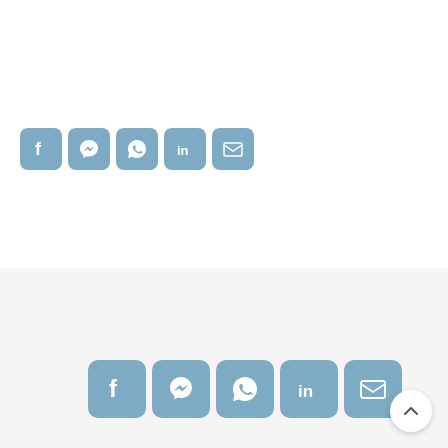[Figure (infographic): A row of 5 social media share icon buttons (Facebook, Messenger, WhatsApp, LinkedIn, Email) in blue rounded-square style, positioned in the upper-left area of a white section.]
[Figure (infographic): A row of 5 larger social media share icon buttons (Facebook, Messenger, WhatsApp, LinkedIn, Email) in blue rounded-square style, centered in a light grey section at the bottom of the page, with a white circular back-to-top arrow button in the bottom-right corner.]